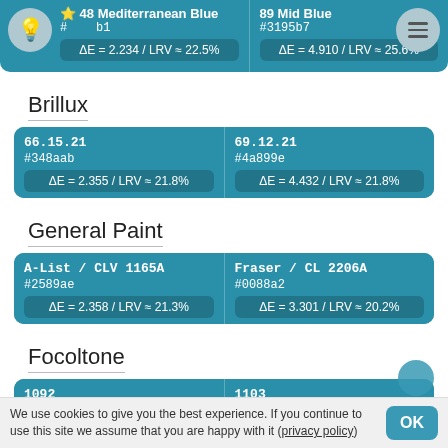48 Mediterranean Blue | #_ _ _ b1 | ΔE = 2.234 / LRV ≈ 22.5%
89 Mid Blue | #3195b7 | ΔE = 4.910 / LRV ≈ 25.6%
Brillux
66.15.21 | #348aab | ΔE = 2.355 / LRV ≈ 21.8%
69.12.21 | #4a899e | ΔE = 4.432 / LRV ≈ 21.8%
General Paint
A-List / CLV 1165A | #2589ae | ΔE = 2.358 / LRV ≈ 21.3%
Fraser / CL 2206A | #0088a2 | ΔE = 3.301 / LRV ≈ 20.2%
Focoltone
1092 | #0086ad | ΔE = 2.398 / LRV ≈ 20.1%
1103 | #0092ae | ΔE = 4.299 / LRV ≈ 23.6%
We use cookies to give you the best experience. If you continue to use this site we assume that you are happy with it (privacy policy)